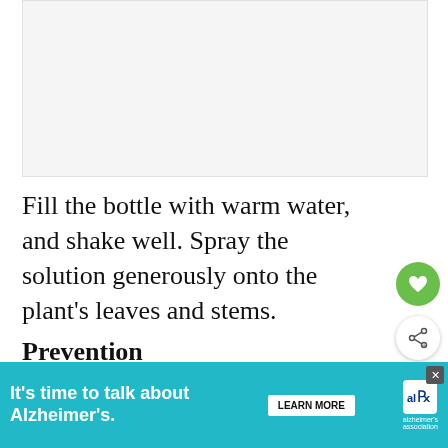[Figure (photo): Placeholder image area for a photo, likely showing a plant or gardening step]
Fill the bottle with warm water, and shake well. Spray the solution generously onto the plant's leaves and stems.
Prevention
Apply the garlic solution weekly to prevent further infestation, and avoid excessive moisture...
[Figure (infographic): WHAT'S NEXT arrow label with Watermelon Peperomia:... thumbnail card]
[Figure (infographic): Advertisement banner: It's time to talk about Alzheimer's. LEARN MORE. Alzheimer's Association logo.]